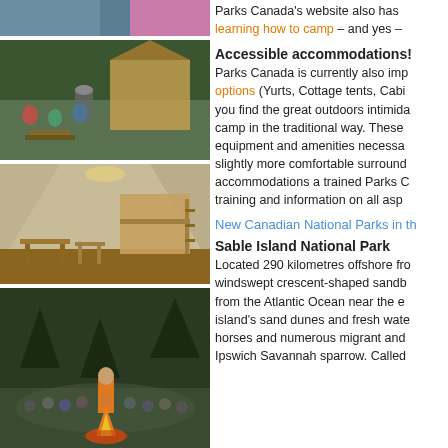[Figure (photo): Partial top photo - people at a camp setting, cropped at top]
[Figure (photo): Group of people outdoors near a wooden cabin/structure with a fire pit lantern]
[Figure (photo): Interior of a canvas tent/cabin with bunk beds and wooden furniture]
[Figure (photo): Campfire gathering with a group of people sitting around a fire in a forest]
Parks Canada's website also has learning how to camp – and yes –
Accessible accommodations!
Parks Canada is currently also implementing accessible accommodation options (Yurts, Cottage tents, Cabins) for those who find the great outdoors intimidating or prefer not to camp in the traditional way. These accommodations have the equipment and amenities necessary for camping in slightly more comfortable surroundings. With these accommodations a trained Parks Canada staff provides training and information on all aspects of camping.
New Canadian National Parks in the
Sable Island National Park
Located 290 kilometres offshore from Nova Scotia, this windswept crescent-shaped sandbar rises from the Atlantic Ocean near the edge of the Continental Shelf. The island's sand dunes and fresh water ponds are home to wild horses and numerous migrant and breeding birds, including the Ipswich Savannah sparrow. Called